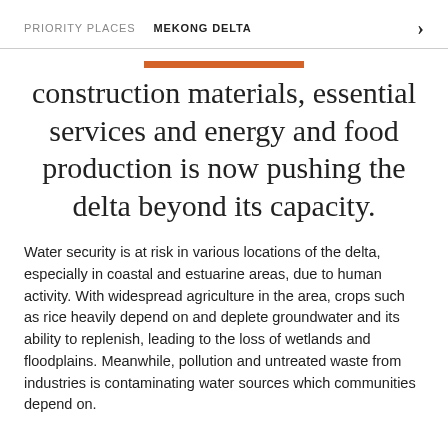PRIORITY PLACES   MEKONG DELTA
construction materials, essential services and energy and food production is now pushing the delta beyond its capacity.
Water security is at risk in various locations of the delta, especially in coastal and estuarine areas, due to human activity. With widespread agriculture in the area, crops such as rice heavily depend on and deplete groundwater and its ability to replenish, leading to the loss of wetlands and floodplains. Meanwhile, pollution and untreated waste from industries is contaminating water sources which communities depend on.